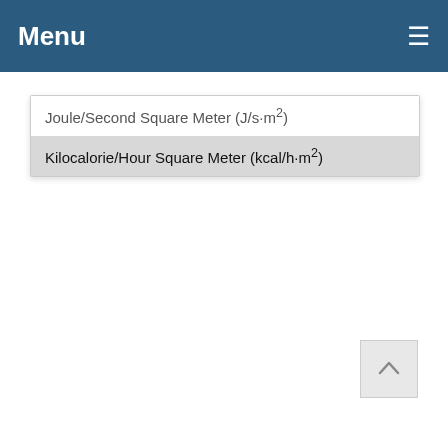Menu ≡
Joule/Second Square Meter (J/s·m²)
Kilocalorie/Hour Square Meter (kcal/h·m²)